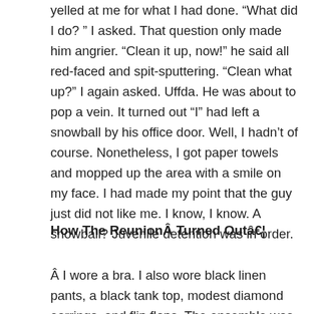yelled at me for what I had done. “What did I do?” I asked. That question only made him angrier. “Clean it up, now!” he said all red-faced and spit-sputtering. “Clean what up?” I again asked. Uffda. He was about to pop a vein. It turned out “I” had left a snowball by his office door. Well, I hadn’t of course. Nonetheless, I got paper towels and mopped up the area with a smile on my face. I had made my point that the guy just did not like me. I know, I know. A snowball? Juvenile detention was in order.
How The ReunionÂ Turned Outâ€¦
Â I wore a bra. I also wore black linen pants, a black tank top, modest diamond earrings, and flip flops. The ensemble was a far cry from my high school